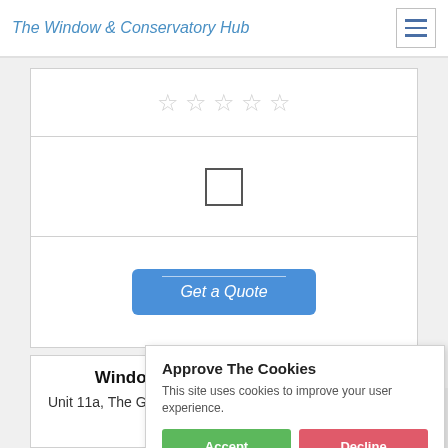The Window & Conservatory Hub
[Figure (other): 5 empty star rating icons]
[Figure (other): Empty checkbox]
[Figure (other): Get a Quote button]
Window Options (Yorkshire) Ltd
Unit 11a, The Grange Industrial [obscured], East Yorkshire
3241
[Figure (other): Cookie consent popup: Approve The Cookies. This site uses cookies to improve your user experience. Accept / Decline buttons. Cookie policy link.]